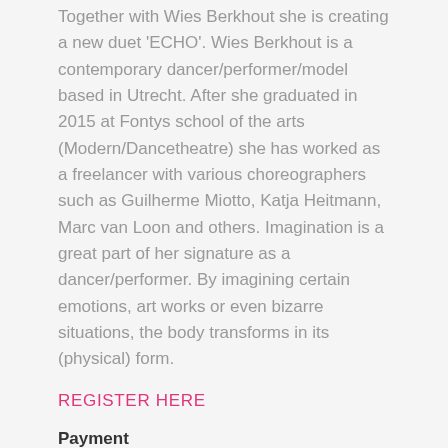Together with Wies Berkhout she is creating a new duet 'ECHO'. Wies Berkhout is a contemporary dancer/performer/model based in Utrecht. After she graduated in 2015 at Fontys school of the arts (Modern/Dancetheatre) she has worked as a freelancer with various choreographers such as Guilherme Miotto, Katja Heitmann, Marc van Loon and others. Imagination is a great part of her signature as a dancer/performer. By imagining certain emotions, art works or even bizarre situations, the body transforms in its (physical) form.
REGISTER HERE
Payment
Click on the link to sign-up using a